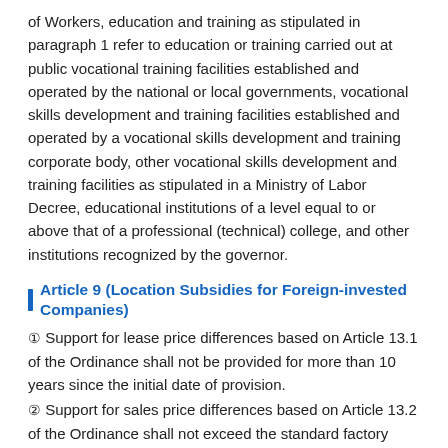of Workers, education and training as stipulated in paragraph 1 refer to education or training carried out at public vocational training facilities established and operated by the national or local governments, vocational skills development and training facilities established and operated by a vocational skills development and training corporate body, other vocational skills development and training facilities as stipulated in a Ministry of Labor Decree, educational institutions of a level equal to or above that of a professional (technical) college, and other institutions recognized by the governor.
Article 9 (Location Subsidies for Foreign-invested Companies)
① Support for lease price differences based on Article 13.1 of the Ordinance shall not be provided for more than 10 years since the initial date of provision.
② Support for sales price differences based on Article 13.2 of the Ordinance shall not exceed the standard factory area rate by business type, announced by the Minister of Industry Trade and Energy, based on factory site area as stipulated in the Industrial Cluster Development and Factory Establishment Act.
③ Companies that hoe to receive subsidies shall submit an application